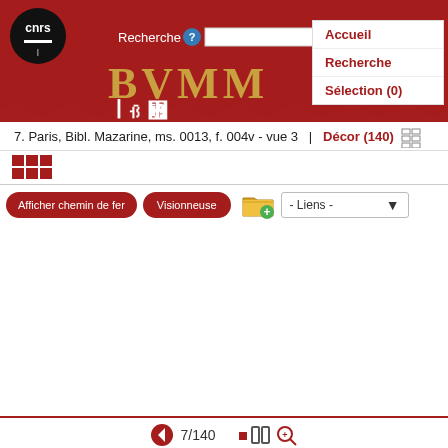[Figure (screenshot): BVMM website header with CNRS logo, search bar, navigation menu (Accueil, Recherche, Sélection (0)) and decorative BVMM title in gold on red background]
7. Paris, Bibl. Mazarine, ms. 0013, f. 004v - vue 3  |  Décor (140)
[Figure (other): Red grid/thumbnail icon for view selection]
Afficher chemin de fer   Visionneuse   - Liens -
7/140
[Figure (other): Bottom navigation controls: back arrow, view size icons, zoom magnifier]